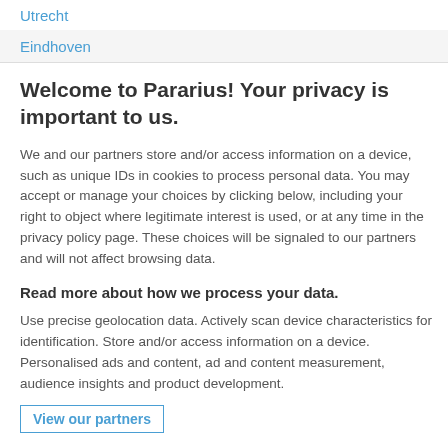Utrecht
Eindhoven
Welcome to Pararius! Your privacy is important to us.
We and our partners store and/or access information on a device, such as unique IDs in cookies to process personal data. You may accept or manage your choices by clicking below, including your right to object where legitimate interest is used, or at any time in the privacy policy page. These choices will be signaled to our partners and will not affect browsing data.
Read more about how we process your data.
Use precise geolocation data. Actively scan device characteristics for identification. Store and/or access information on a device. Personalised ads and content, ad and content measurement, audience insights and product development.
View our partners
Agree